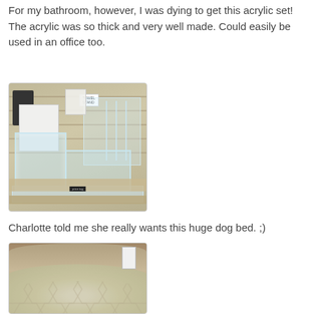For my bathroom, however, I was dying to get this acrylic set! The acrylic was so thick and very well made. Could easily be used in an office too.
[Figure (photo): Photo of an acrylic bathroom organizer set displayed on a shelf in a store]
Charlotte told me she really wants this huge dog bed. ;)
[Figure (photo): Photo of a large dog bed with a hexagonal/geometric pattern fabric in beige/cream color]